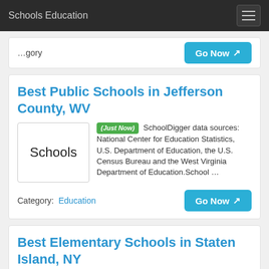Schools Education
Category:   Go Now
Best Public Schools in Jefferson County, WV
(Just Now) SchoolDigger data sources: National Center for Education Statistics, U.S. Department of Education, the U.S. Census Bureau and the West Virginia Department of Education.School …
Category:  Education   Go Now
Best Elementary Schools in Staten Island, NY